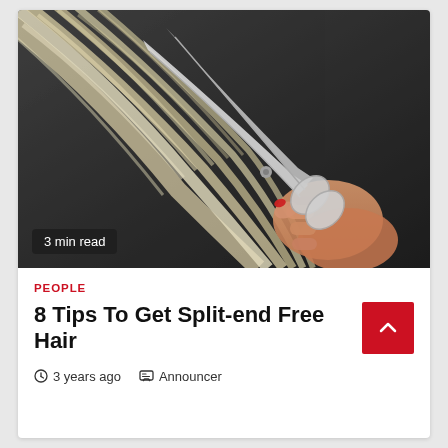[Figure (photo): Close-up photo of a hand with red-painted nails holding scissors cutting through long blonde/light hair against a dark background. A badge reads '3 min read' in the lower left corner.]
PEOPLE
8 Tips To Get Split-end Free Hair
3 years ago   Announcer